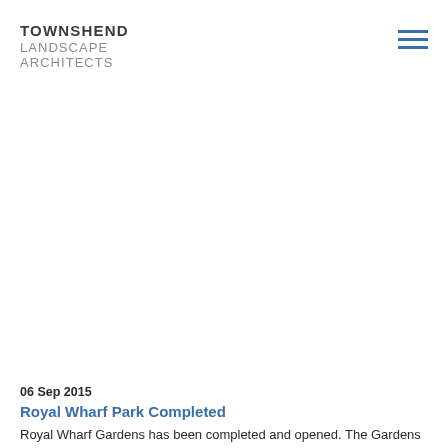TOWNSHEND LANDSCAPE ARCHITECTS
06 Sep 2015
Royal Wharf Park Completed
Royal Wharf Gardens has been completed and opened. The Gardens